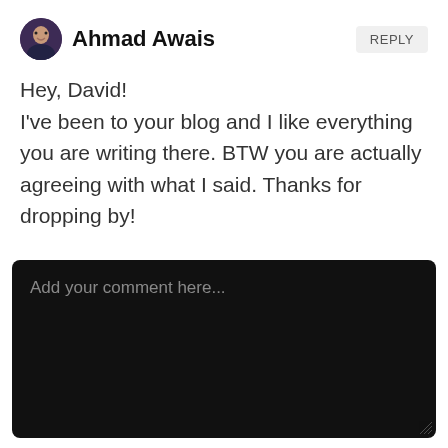Ahmad Awais
REPLY
Hey, David!
I've been to your blog and I like everything you are writing there. BTW you are actually agreeing with what I said. Thanks for dropping by!
Add your comment here...